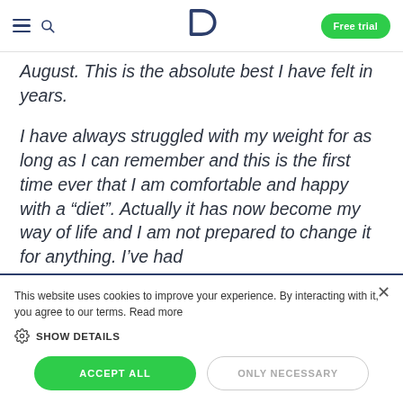D | Free trial
August. This is the absolute best I have felt in years.
I have always struggled with my weight for as long as I can remember and this is the first time ever that I am comfortable and happy with a “diet”. Actually it has now become my way of life and I am not prepared to change it for anything. I’ve had
This website uses cookies to improve your experience. By interacting with it, you agree to our terms. Read more
SHOW DETAILS
ACCEPT ALL
ONLY NECESSARY